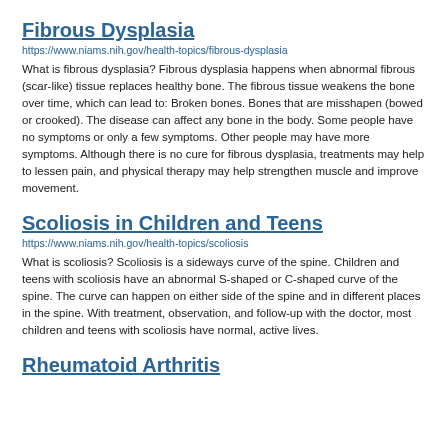Fibrous Dysplasia
https://www.niams.nih.gov/health-topics/fibrous-dysplasia
What is fibrous dysplasia? Fibrous dysplasia happens when abnormal fibrous (scar-like) tissue replaces healthy bone. The fibrous tissue weakens the bone over time, which can lead to: Broken bones. Bones that are misshapen (bowed or crooked). The disease can affect any bone in the body. Some people have no symptoms or only a few symptoms. Other people may have more symptoms. Although there is no cure for fibrous dysplasia, treatments may help to lessen pain, and physical therapy may help strengthen muscle and improve movement.
Scoliosis in Children and Teens
https://www.niams.nih.gov/health-topics/scoliosis
What is scoliosis? Scoliosis is a sideways curve of the spine. Children and teens with scoliosis have an abnormal S-shaped or C-shaped curve of the spine. The curve can happen on either side of the spine and in different places in the spine. With treatment, observation, and follow-up with the doctor, most children and teens with scoliosis have normal, active lives.
Rheumatoid Arthritis